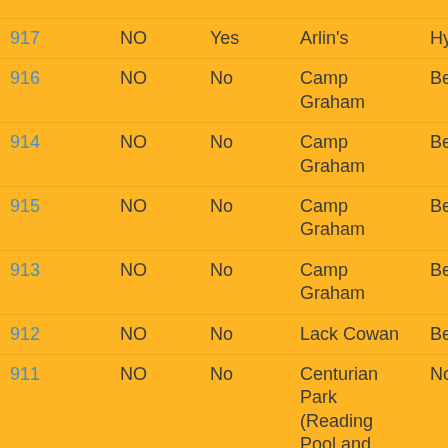| ID | Col2 | Col3 | Location | Col5 |
| --- | --- | --- | --- | --- |
| 917 | NO | Yes | Arlin's | Hyp |
| 916 | NO | No | Camp Graham | Bee |
| 914 | NO | No | Camp Graham | Bee |
| 915 | NO | No | Camp Graham | Bee |
| 913 | NO | No | Camp Graham | Bee |
| 912 | NO | No | Lack Cowan | Bee |
| 911 | NO | No | Centurian Park (Reading Pool and Stadium) | Nor |
| 910 | NO | No | H&R & Y's Place | Nor |
| 909 | NO | Yes | Andy's Cafe | Hyp |
| 908 | NO | No | Blue Ash at Grooms Road Park | Nor |